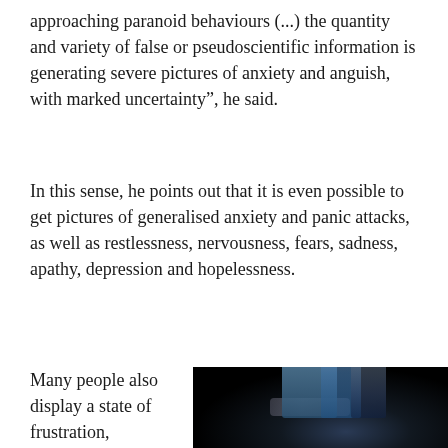approaching paranoid behaviours (...) the quantity and variety of false or pseudoscientific information is generating severe pictures of anxiety and anguish, with marked uncertainty”, he said.
In this sense, he points out that it is even possible to get pictures of generalised anxiety and panic attacks, as well as restlessness, nervousness, fears, sadness, apathy, depression and hopelessness.
Many people also display a state of frustration, emotional reactions or feelings of exhaustion; even irritability...
[Figure (photo): Dark photograph showing a dimly lit scene with what appears to be metallic or glass structures illuminated by blue/white light against a black background]